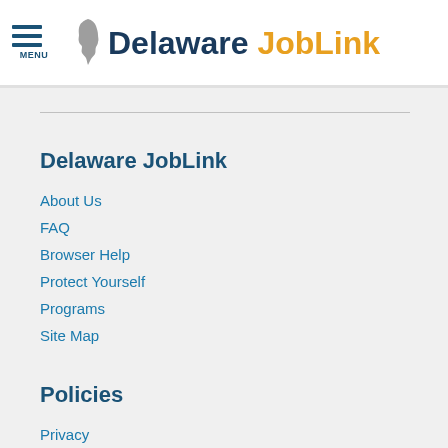Delaware JobLink
Delaware JobLink
About Us
FAQ
Browser Help
Protect Yourself
Programs
Site Map
Policies
Privacy
Equal Opportunity
Veterans' Priority
Accessibility